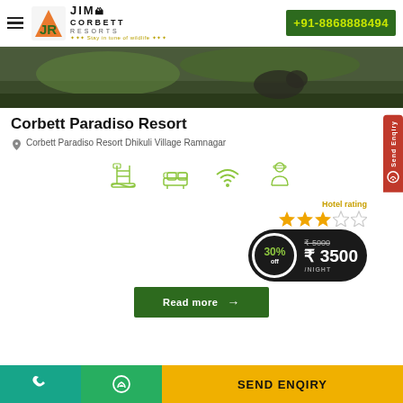Jim Corbett Resorts | +91-8868888494
[Figure (photo): Hero image of Corbett resort with greenery and wildlife]
Corbett Paradiso Resort
Corbett Paradiso Resort Dhikuli Village Ramnagar
[Figure (infographic): Four amenity icons: swimming pool, room/bed, wifi, butler/concierge]
Hotel rating ★★★☆☆
30% off ₹5000 ₹ 3500 /NIGHT
Read more →
Send Enquiry | WhatsApp | SEND ENQIRY